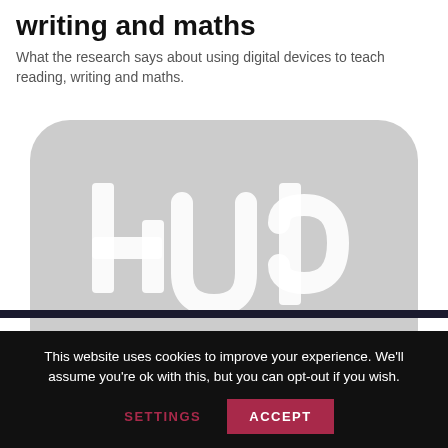writing and maths
What the research says about using digital devices to teach reading, writing and maths.
[Figure (logo): Hub logo — white 'hub' lettering on a light grey rounded rectangle background]
This website uses cookies to improve your experience. We'll assume you're ok with this, but you can opt-out if you wish.
SETTINGS   ACCEPT